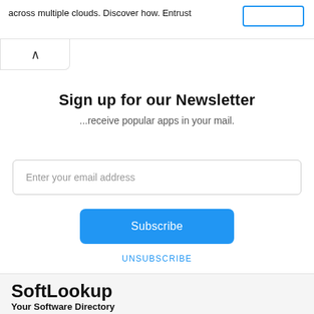across multiple clouds. Discover how. Entrust
[Figure (screenshot): Collapse/up-arrow tab button]
Sign up for our Newsletter
...receive popular apps in your mail.
Enter your email address
Subscribe
UNSUBSCRIBE
SoftLookup
Your Software Directory